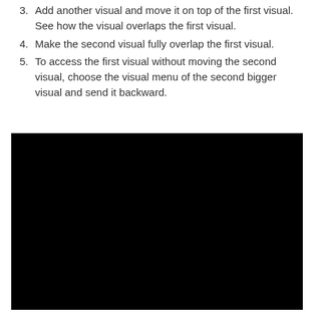3. Add another visual and move it on top of the first visual. See how the visual overlaps the first visual.
4. Make the second visual fully overlap the first visual.
5. To access the first visual without moving the second visual, choose the visual menu of the second bigger visual and send it backward.
[Figure (screenshot): A large black rectangle image, likely a screenshot of a visual/slide editing interface showing overlapping visuals with a black background.]